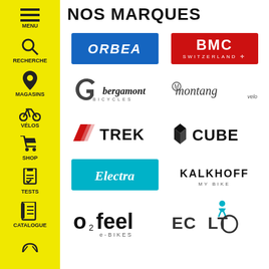[Figure (infographic): Yellow sidebar navigation with icons and labels: MENU (hamburger icon), RECHERCHE (magnifying glass), MAGASINS (map pin), VÉLOS (bicycle), SHOP (cart), TESTS (clipboard), CATALOGUE (book), and a partial icon at bottom]
NOS MARQUES
[Figure (logo): ORBEA logo - white text on blue rectangle background]
[Figure (logo): BMC SWITZERLAND logo - white text on red rectangle background with Swiss cross]
[Figure (logo): Bergamont Bicycles logo - stylized G icon and italic text]
[Figure (logo): Montana logo - stylized italic script brand name]
[Figure (logo): TREK logo - red chevron/shield icon and bold black TREK text]
[Figure (logo): CUBE logo - bolt/arrow icon and bold black CUBE text]
[Figure (logo): Electra logo - white italic script on teal/cyan rectangle background]
[Figure (logo): KALKHOFF MY BIKE logo - black text KALKHOFF, small MY BIKE subtitle]
[Figure (logo): O2feel e-BIKES logo - stylized text with subscript 2]
[Figure (logo): ECOVOLT logo - cyan cyclist figure integrated into text]